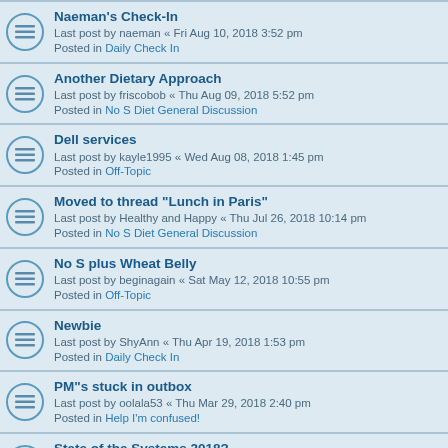Naeman's Check-In
Last post by naeman « Fri Aug 10, 2018 3:52 pm
Posted in Daily Check In
Another Dietary Approach
Last post by friscobob « Thu Aug 09, 2018 5:52 pm
Posted in No S Diet General Discussion
Dell services
Last post by kayle1995 « Wed Aug 08, 2018 1:45 pm
Posted in Off-Topic
Moved to thread "Lunch in Paris"
Last post by Healthy and Happy « Thu Jul 26, 2018 10:14 pm
Posted in No S Diet General Discussion
No S plus Wheat Belly
Last post by beginagain « Sat May 12, 2018 10:55 pm
Posted in Off-Topic
Newbie
Last post by ShyAnn « Thu Apr 19, 2018 1:53 pm
Posted in Daily Check In
PM"s stuck in outbox
Last post by oolala53 « Thu Mar 29, 2018 2:40 pm
Posted in Help I'm confused!
State of the Systems 2018?
Last post by Chris Graeme « Wed Mar 07, 2018 5:21 am
Posted in Everyday Systems General Discussion
How to lose weight--according to economists
Last post by savor « Sat Feb 03, 2018 3:49 am